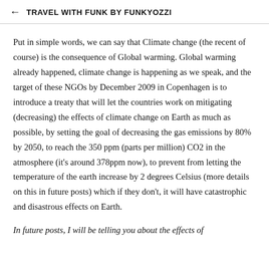← TRAVEL WITH FUNK BY FUNKYOZZI
Put in simple words, we can say that Climate change (the recent of course) is the consequence of Global warming. Global warming already happened, climate change is happening as we speak, and the target of these NGOs by December 2009 in Copenhagen is to introduce a treaty that will let the countries work on mitigating (decreasing) the effects of climate change on Earth as much as possible, by setting the goal of decreasing the gas emissions by 80% by 2050, to reach the 350 ppm (parts per million) CO2 in the atmosphere (it's around 378ppm now), to prevent from letting the temperature of the earth increase by 2 degrees Celsius (more details on this in future posts) which if they don't, it will have catastrophic and disastrous effects on Earth.
In future posts, I will be telling you about the effects of